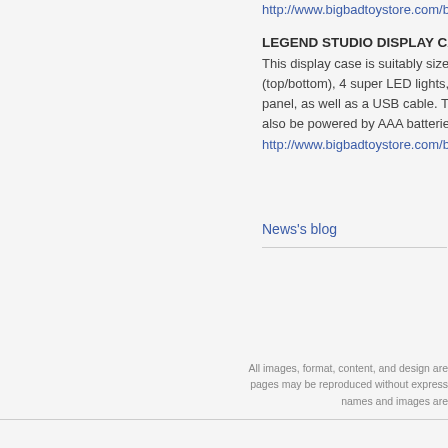http://www.bigbadtoystore.com/bbts/
LEGEND STUDIO DISPLAY CASE
This display case is suitably sized fo... (top/bottom), 4 super LED lights, a "m... panel, as well as a USB cable. The d... also be powered by AAA batteries (n...
http://www.bigbadtoystore.com/bbts/
Big
News's blog
All images, format, content, and design are... pages may be reproduced without express... names and images are...